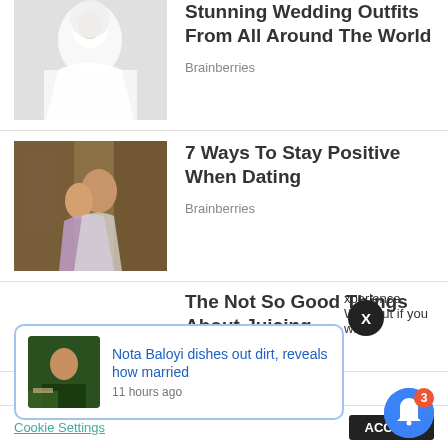[Figure (photo): Person in white hooded dress/outfit, partially cropped at top]
Stunning Wedding Outfits From All Around The World
Brainberries
[Figure (photo): Couple embracing, man and woman in casual/white clothing, outdoor setting]
7 Ways To Stay Positive When Dating
Brainberries
The Not So Good Things About Juicing
Herbeauty
Celeb Gossip
[Figure (screenshot): Notification popup: Nota Baloyi dishes out dirt, reveals how married — 11 hours ago, with thumbnail of person]
xperience. We'll out if you wish
Cookie Settings
ACCEPT